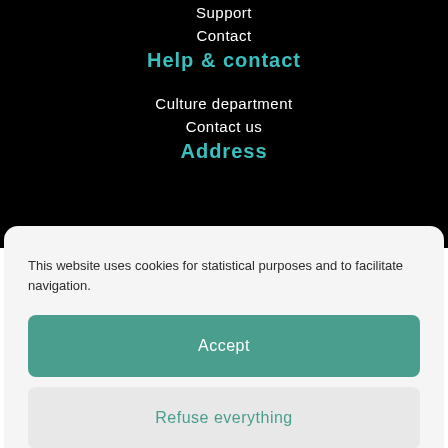Support
Contact
Help & contact
Culture department
Contact us
Address
This website uses cookies for statistical purposes and to facilitate navigation.
Accept
Refuse everything
Politique de cookies